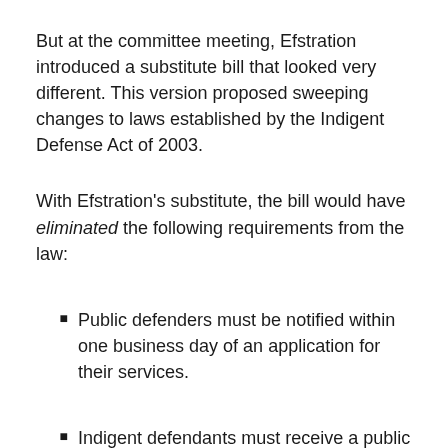But at the committee meeting, Efstration introduced a substitute bill that looked very different. This version proposed sweeping changes to laws established by the Indigent Defense Act of 2003.
With Efstration's substitute, the bill would have eliminated the following requirements from the law:
Public defenders must be notified within one business day of an application for their services.
Indigent defendants must receive a public defender's services within three business days of being jailed.